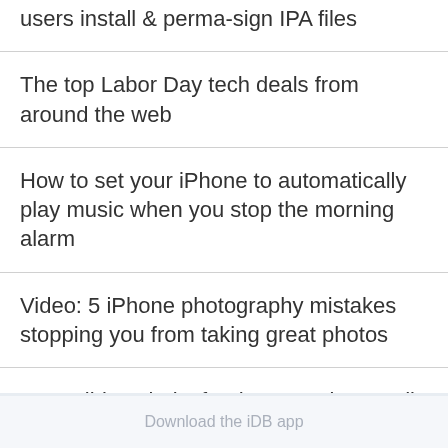users install & perma-sign IPA files
The top Labor Day tech deals from around the web
How to set your iPhone to automatically play music when you stop the morning alarm
Video: 5 iPhone photography mistakes stopping you from taking great photos
5 possible culprits for the annoying Studio Display buzzing sound
Download the iDB app